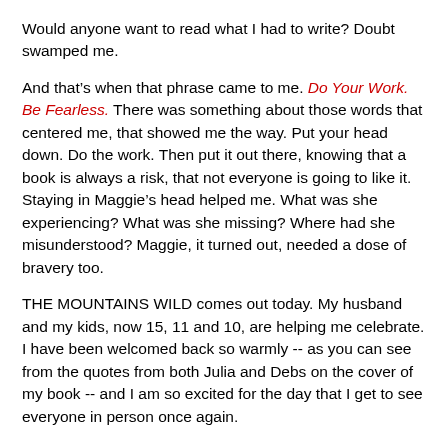Would anyone want to read what I had to write? Doubt swamped me.
And that’s when that phrase came to me. Do Your Work. Be Fearless. There was something about those words that centered me, that showed me the way. Put your head down. Do the work. Then put it out there, knowing that a book is always a risk, that not everyone is going to like it. Staying in Maggie’s head helped me. What was she experiencing? What was she missing? Where had she misunderstood? Maggie, it turned out, needed a dose of bravery too.
THE MOUNTAINS WILD comes out today. My husband and my kids, now 15, 11 and 10, are helping me celebrate. I have been welcomed back so warmly -- as you can see from the quotes from both Julia and Debs on the cover of my book -- and I am so excited for the day that I get to see everyone in person once again.